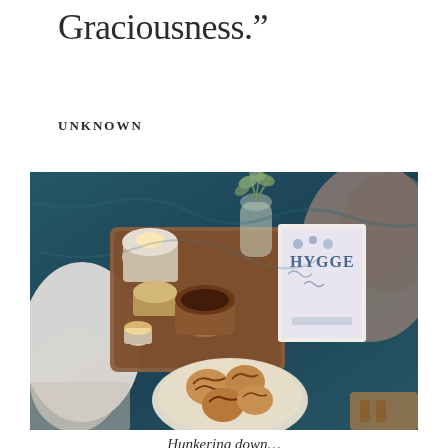Graciousness.”
UNKNOWN
[Figure (photo): Flat-lay photograph of a cozy hygge scene on a dark teal fabric background: a wooden tray holding glowing candles, ceramic bowls, a glass vase with eucalyptus branches, and a white book titled 'HYGGE'; beside it, a white pillow with a knit blanket, a plate of cinnamon rolls, and a grey fuzzy blanket with wooden accents.]
Hunkering down…